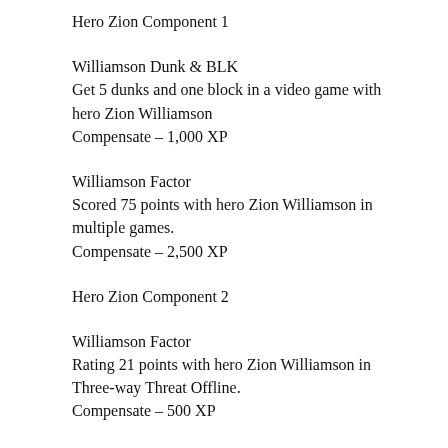Hero Zion Component 1
Williamson Dunk & BLK
Get 5 dunks and one block in a video game with hero Zion Williamson
Compensate – 1,000 XP
Williamson Factor
Scored 75 points with hero Zion Williamson in multiple games.
Compensate – 2,500 XP
Hero Zion Component 2
Williamson Factor
Rating 21 points with hero Zion Williamson in Three-way Threat Offline.
Compensate – 500 XP
Williamson rebounds
10 rebounds in numerous gamings with hero Zion